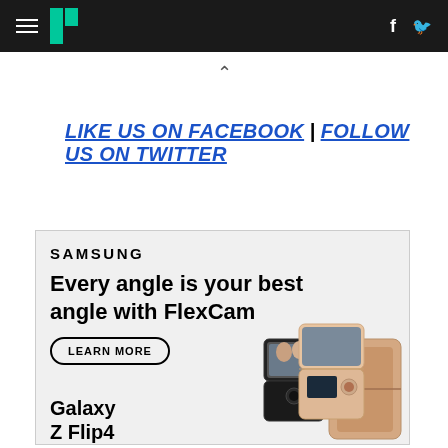HuffPost navigation with hamburger menu, logo, Facebook and Twitter icons
^
LIKE US ON FACEBOOK | FOLLOW US ON TWITTER
[Figure (illustration): Samsung advertisement for Galaxy Z Flip4. Text reads: SAMSUNG, Every angle is your best angle with FlexCam, LEARN MORE button, Galaxy Z Flip4. Shows product images of folding phones.]